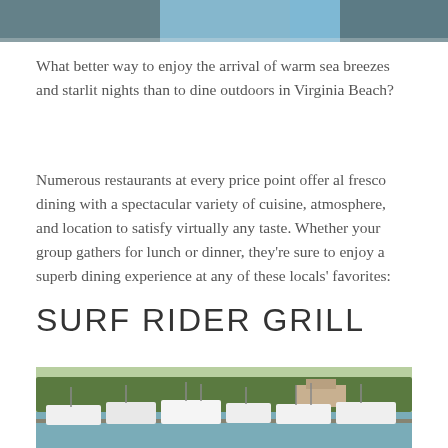[Figure (photo): Top portion of a photo showing people outdoors, partially cropped at the top of the page]
What better way to enjoy the arrival of warm sea breezes and starlit nights than to dine outdoors in Virginia Beach?
Numerous restaurants at every price point offer al fresco dining with a spectacular variety of cuisine, atmosphere, and location to satisfy virtually any taste. Whether your group gathers for lunch or dinner, they’re sure to enjoy a superb dining experience at any of these locals’ favorites:
SURF RIDER GRILL
[Figure (photo): Photo of a marina with white boats docked at a pier, with trees and waterfront houses in the background]